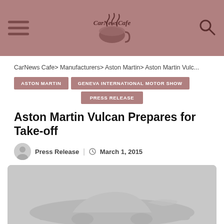CarNewsCafe — site header with logo, hamburger menu, and search icon
CarNews Cafe > Manufacturers > Aston Martin > Aston Martin Vulc...
ASTON MARTIN
GENEVA INTERNATIONAL MOTOR SHOW
PRESS RELEASE
Aston Martin Vulcan Prepares for Take-off
Press Release | March 1, 2015
[Figure (photo): Aston Martin Vulcan car silhouette on grey background]